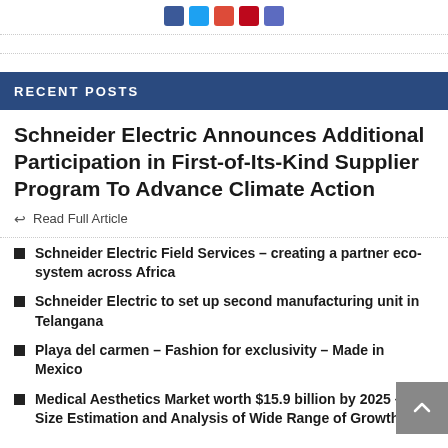[Figure (other): Social media share buttons: Facebook, Twitter, Google+, Pinterest, LinkedIn]
RECENT POSTS
Schneider Electric Announces Additional Participation in First-of-Its-Kind Supplier Program To Advance Climate Action
Read Full Article
Schneider Electric Field Services – creating a partner eco-system across Africa
Schneider Electric to set up second manufacturing unit in Telangana
Playa del carmen – Fashion for exclusivity – Made in Mexico
Medical Aesthetics Market worth $15.9 billion by 2025 – Size Estimation and Analysis of Wide Range of Growth